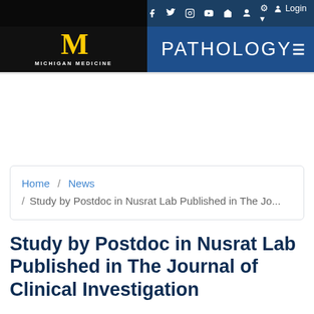Michigan Medicine | PATHOLOGY
Home / News / Study by Postdoc in Nusrat Lab Published in The Jo...
Study by Postdoc in Nusrat Lab Published in The Journal of Clinical Investigation